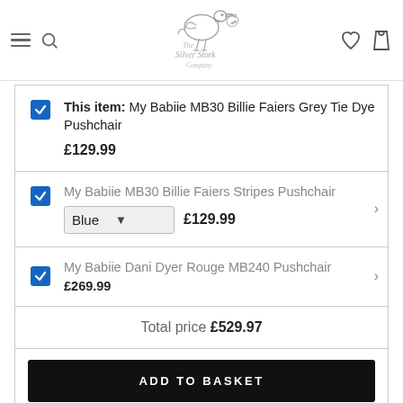The Silver Stork Company — navigation header with logo, hamburger, search, heart, and bag icons
This item: My Babiie MB30 Billie Faiers Grey Tie Dye Pushchair £129.99
My Babiie MB30 Billie Faiers Stripes Pushchair Blue £129.99
My Babiie Dani Dyer Rouge MB240 Pushchair £269.99
Total price £529.97
ADD TO BASKET